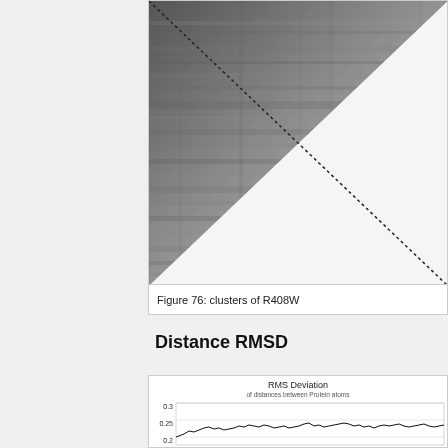[Figure (other): Triangular grayscale distance matrix or contact map for R408W protein clusters. Upper-left triangle filled with varying shades of gray representing distances, diagonal runs from top-right to bottom-left as dotted line.]
Figure 76: clusters of R408W
Distance RMSD
[Figure (continuous-plot): Line plot titled 'RMS Deviation of distances between Protein atoms'. Y-axis shows values 0.2, 0.25, 0.3. Line fluctuates around 0.22-0.28 range with some peaks near 0.3.]